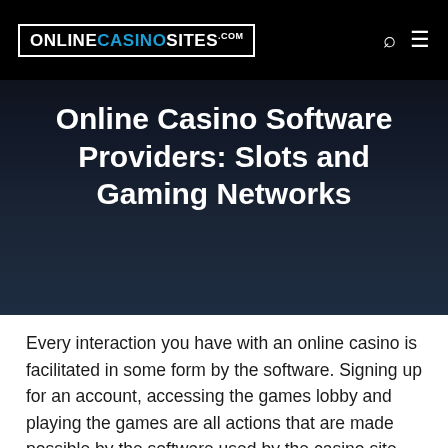ONLINECASINOSITES.COM
Online Casino Software Providers: Slots and Gaming Networks
Every interaction you have with an online casino is facilitated in some form by the software. Signing up for an account, accessing the games lobby and playing the games are all actions that are made possible by the software used by the casino site.